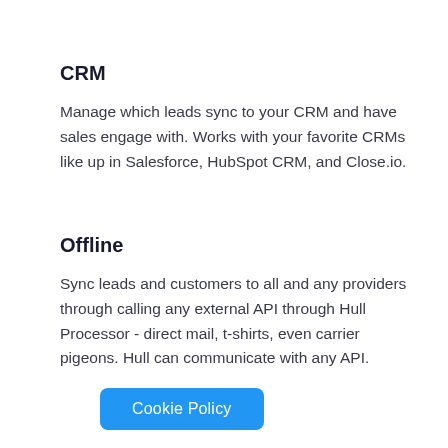CRM
Manage which leads sync to your CRM and have sales engage with. Works with your favorite CRMs like up in Salesforce, HubSpot CRM, and Close.io.
Offline
Sync leads and customers to all and any providers through calling any external API through Hull Processor - direct mail, t-shirts, even carrier pigeons. Hull can communicate with any API.
Cookie Policy